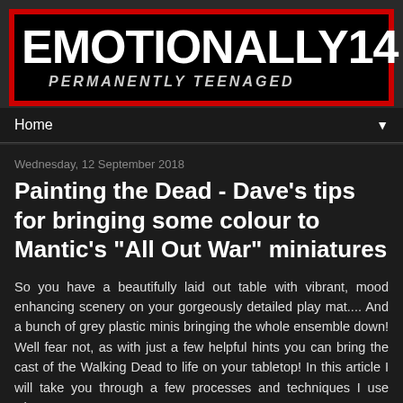EMOTIONALLY14 PERMANENTLY TEENAGED
Home
Wednesday, 12 September 2018
Painting the Dead - Dave's tips for bringing some colour to Mantic's "All Out War" miniatures
So you have a beautifully laid out table with vibrant, mood enhancing scenery on your gorgeously detailed play mat.... And a bunch of grey plastic minis bringing the whole ensemble down! Well fear not, as with just a few helpful hints you can bring the cast of the Walking Dead to life on your tabletop! In this article I will take you through a few processes and techniques I use when